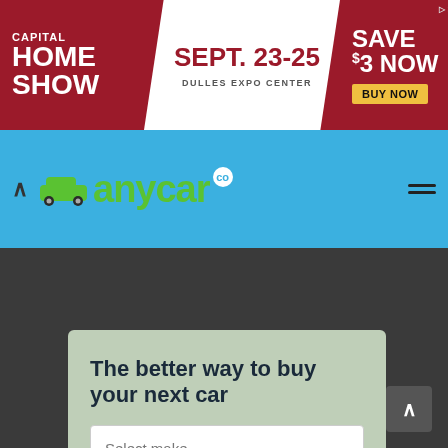[Figure (screenshot): Advertisement banner for Capital Home Show, Sept. 23-25, Dulles Expo Center. Save $3 Now. Buy Now button.]
[Figure (screenshot): anycar.co website navigation bar with logo on blue background]
The better way to buy your next car
Select make
Search cars